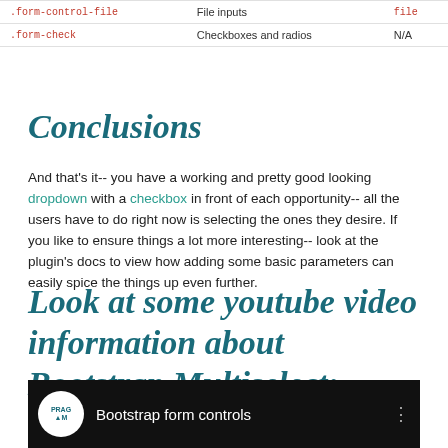| .form-control-file | File inputs | file |
| .form-check | Checkboxes and radios | N/A |
Conclusions
And that's it-- you have a working and pretty good looking dropdown with a checkbox in front of each opportunity-- all the users have to do right now is selecting the ones they desire. If you like to ensure things a lot more interesting-- look at the plugin's docs to view how adding some basic parameters can easily spice the things up even further.
Look at some youtube video information about Bootstrap Multiselect:
[Figure (screenshot): YouTube video thumbnail showing Bootstrap form controls with PRAGMA logo on dark background]